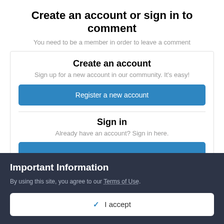Create an account or sign in to comment
You need to be a member in order to leave a comment
Create an account
Sign up for a new account in our community. It's easy!
Register a new account
Sign in
Already have an account? Sign in here.
Important Information
By using this site, you agree to our Terms of Use.
✓ I accept